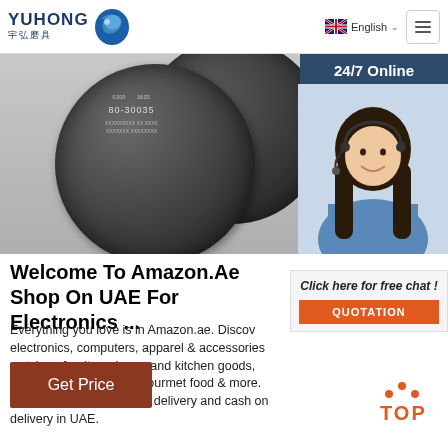YUHONG 宇弘磨具 | English
[Figure (photo): Two dark abrasive cutting discs with text '80-30035' visible on the front disc, shown against a grey background]
Welcome To Amazon.Ae Shop On UAE For Electronics ...
Everything you love is in Amazon.ae. Discover electronics, computers, apparel & accessories, watches, furniture, home and kitchen goods, personal care, grocery, gourmet food & more. Enjoy great deals, fastest delivery and cash on delivery in UAE.
[Figure (photo): Customer service representative woman with headset smiling, with '24/7 Online' banner and 'Click here for free chat!' overlay with QUOTATION button]
Get Price
TOP